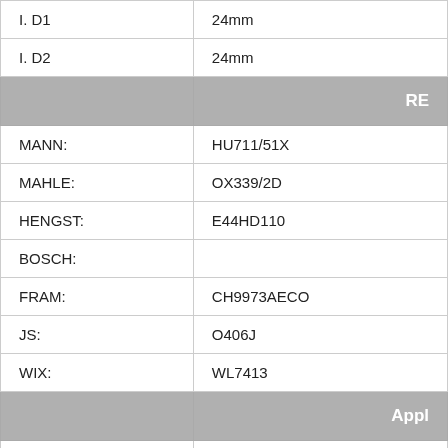| I. D1 | 24mm |
| I. D2 | 24mm |
| RE |  |
| MANN: | HU711/51X |
| MAHLE: | OX339/2D |
| HENGST: | E44HD110 |
| BOSCH: |  |
| FRAM: | CH9973AECO |
| JS: | O406J |
| WIX: | WL7413 |
| Appl |  |
| Make | Model |